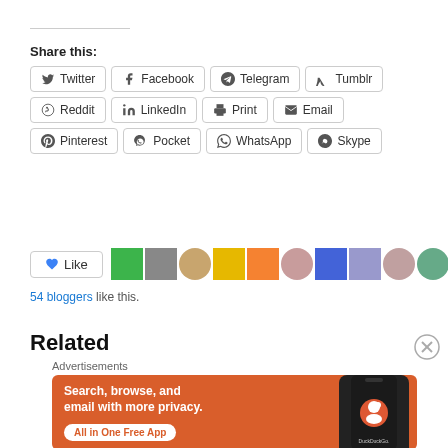Share this:
Twitter
Facebook
Telegram
Tumblr
Reddit
LinkedIn
Print
Email
Pinterest
Pocket
WhatsApp
Skype
54 bloggers like this.
Related
[Figure (screenshot): DuckDuckGo advertisement banner with orange background showing 'Search, browse, and email with more privacy. All in One Free App' text and a phone mockup with DuckDuckGo logo]